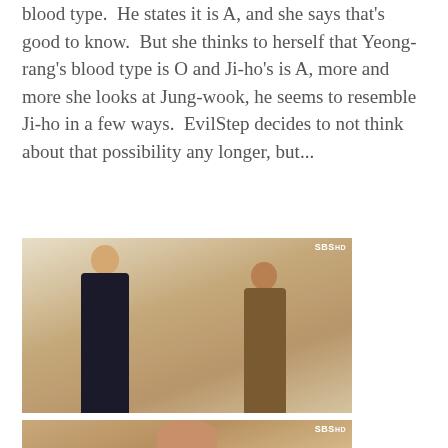blood type.  He states it is A, and she says that's good to know.  But she thinks to herself that Yeong-rang's blood type is O and Ji-ho's is A, more and more she looks at Jung-wook, he seems to resemble Ji-ho in a few ways.  EvilStep decides to not think about that possibility any longer, but...
[Figure (photo): TV screenshot from Korean drama (SBS) showing a man in a black suit and a woman in a brown coat facing each other in an interior room with piano and decorative items visible. SBS logo watermark in top right.]
[Figure (photo): Partial TV screenshot from Korean drama (SBS) showing a close-up of a woman's face. SBS logo watermark in top right.]